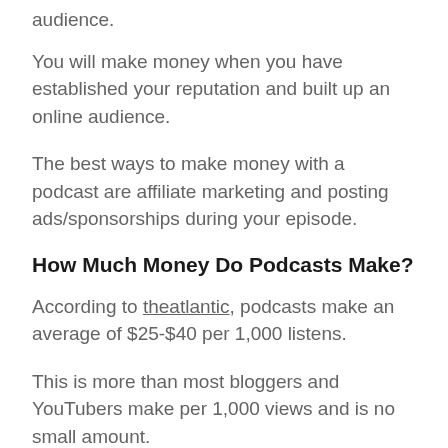audience.
You will make money when you have established your reputation and built up an online audience.
The best ways to make money with a podcast are affiliate marketing and posting ads/sponsorships during your episode.
How Much Money Do Podcasts Make?
According to theatlantic, podcasts make an average of $25-$40 per 1,000 listens.
This is more than most bloggers and YouTubers make per 1,000 views and is no small amount.
It may take you months or even years to make a full-